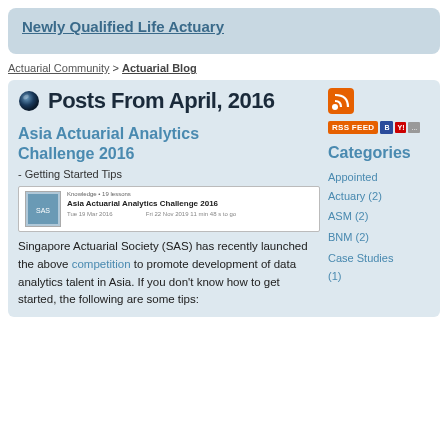Newly Qualified Life Actuary
Actuarial Community > Actuarial Blog
Posts From April, 2016
Asia Actuarial Analytics Challenge 2016
- Getting Started Tips
[Figure (screenshot): Screenshot of Asia Actuarial Analytics Challenge 2016 page with Singapore Actuarial Society logo]
Singapore Actuarial Society (SAS) has recently launched the above competition to promote development of data analytics talent in Asia. If you don't know how to get started, the following are some tips:
Categories
Appointed Actuary (2)
ASM (2)
BNM (2)
Case Studies (1)